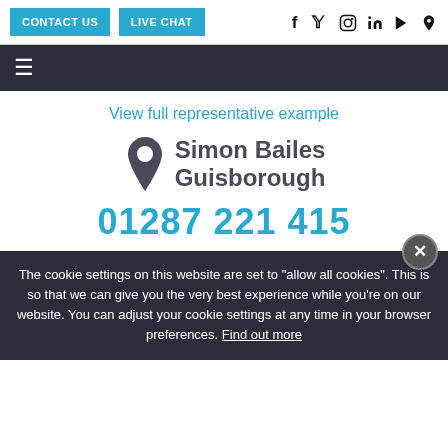CONTACT US | LIVE CHAT | Social icons: f y instagram in YouTube Pinterest
[Figure (screenshot): Navigation hamburger menu icon on dark bar]
View full representative example
[Figure (illustration): Location pin icon with Simon Bailes Guisborough dealer name]
01287 221 415
The cookie settings on this website are set to "allow all cookies". This is so that we can give you the very best experience while you're on our website. You can adjust your cookie settings at any time in your browser preferences. Find out more